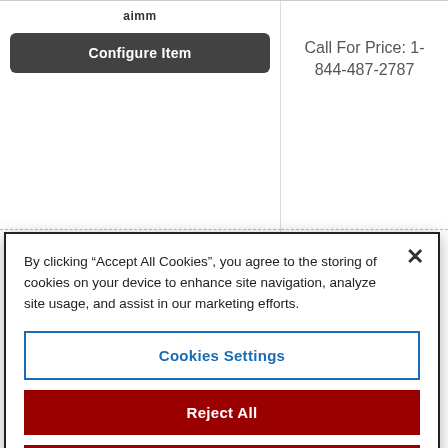Configure Item
Call For Price: 1-844-487-2787
[Figure (logo): RECON brand logo in styled metallic text]
[Figure (logo): RECON brand logo in styled metallic text]
By clicking “Accept All Cookies”, you agree to the storing of cookies on your device to enhance site navigation, analyze site usage, and assist in our marketing efforts.
Cookies Settings
Reject All
Accept All Cookies